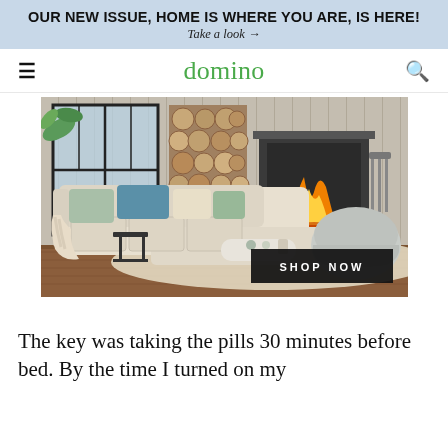OUR NEW ISSUE, HOME IS WHERE YOU ARE, IS HERE!
Take a look →
domino
[Figure (photo): Living room interior advertisement showing a beige sectional sofa with blue and sage green throw pillows, a chunky knit blanket, a black side table, a round white coffee table, a round grey armchair, a lit fireplace, stacked log wall and large windows. A 'SHOP NOW' button overlays the image.]
The key was taking the pills 30 minutes before bed. By the time I turned on my